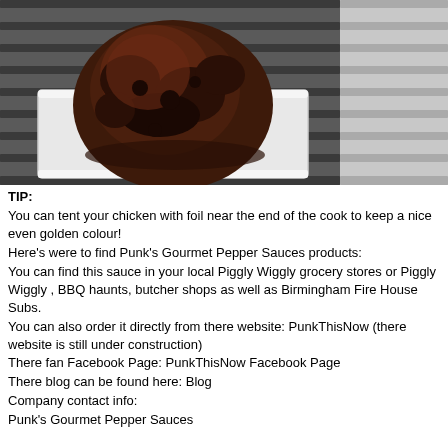[Figure (photo): A whole smoked/BBQ chicken sitting in a foil tray on a grill grate, with dark caramelized skin and grill marks visible underneath.]
TIP:
You can tent your chicken with foil near the end of the cook to keep a nice even golden colour!
Here's were to find Punk's Gourmet Pepper Sauces products:
You can find this sauce in your local Piggly Wiggly grocery stores or Piggly Wiggly , BBQ haunts, butcher shops as well as Birmingham Fire House Subs.
You can also order it directly from there website: PunkThisNow (there website is still under construction)
There fan Facebook Page: PunkThisNow Facebook Page
There blog can be found here: Blog
Company contact info:
Punk's Gourmet Pepper Sauces